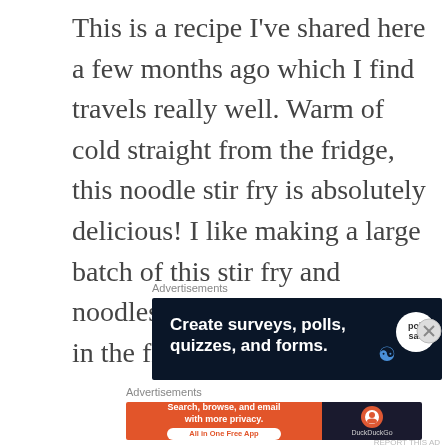This is a recipe I've shared here a few months ago which I find travels really well. Warm of cold straight from the fridge, this noodle stir fry is absolutely delicious! I like making a large batch of this stir fry and noodles and find that it keeps in the fridge for up to 4 days.
Advertisements
[Figure (other): Advertisement banner: dark navy background with text 'Create surveys, polls, quizzes, and forms.' with WordPress and PollSalit logos]
Advertisements
[Figure (other): Advertisement banner: orange left section with 'Search, browse, and email with more privacy. All in One Free App' and dark right section with DuckDuckGo logo]